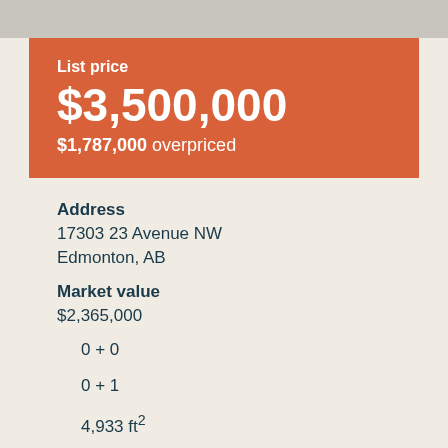List price
$3,500,000
$1,787,000 overpriced
Address
17303 23 Avenue NW
Edmonton, AB
Market value
$2,365,000
0 + 0
0 + 1
4,933 ft²